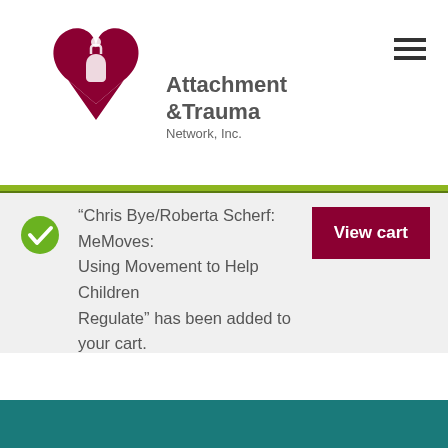[Figure (logo): Attachment & Trauma Network, Inc. logo with dark red broken heart containing white hand silhouette]
“Chris Bye/Roberta Scherf: MeMoves: Using Movement to Help Children Regulate” has been added to your cart.